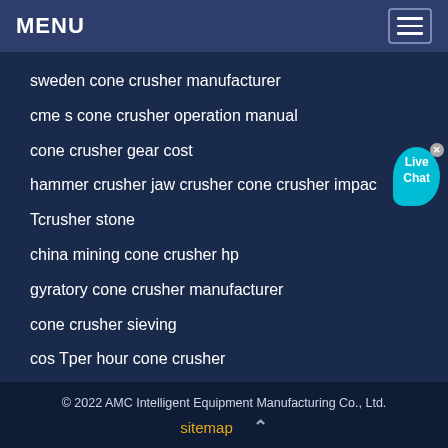MENU
sweden cone crusher manufacturer
cme s cone crusher operation manual
cone crusher gear cost
hammer crusher jaw crusher cone crusher impac
Tcrusher stone
china mining cone crusher hp
gyratory cone crusher manufacturer
cone crusher sieving
cos Tper hour cone crusher
cone crusher machine in south africa
© 2022 AMC Intelligent Equipment Manufacturing Co., Ltd.
sitemap